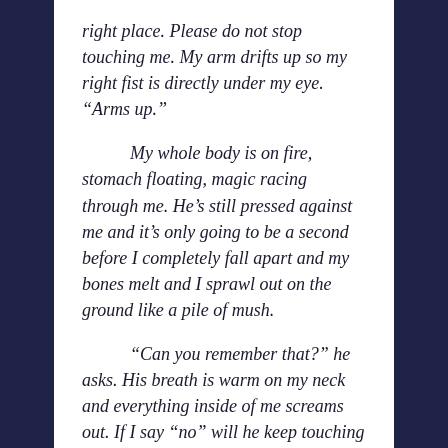right place. Please do not stop touching me. My arm drifts up so my right fist is directly under my eye. “Arms up.”
My whole body is on fire, stomach floating, magic racing through me. He’s still pressed against me and it’s only going to be a second before I completely fall apart and my bones melt and I sprawl out on the ground like a pile of mush.
“Can you remember that?” he asks. His breath is warm on my neck and everything inside of me screams out. If I say “no” will he keep touching me? Work voice!